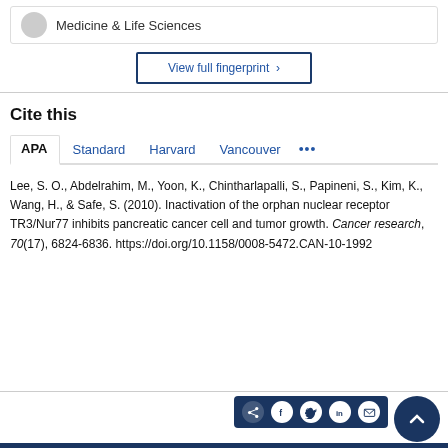Medicine & Life Sciences
View full fingerprint ›
Cite this
APA | Standard | Harvard | Vancouver | ...
Lee, S. O., Abdelrahim, M., Yoon, K., Chintharlapalli, S., Papineni, S., Kim, K., Wang, H., & Safe, S. (2010). Inactivation of the orphan nuclear receptor TR3/Nur77 inhibits pancreatic cancer cell and tumor growth. Cancer research, 70(17), 6824-6836. https://doi.org/10.1158/0008-5472.CAN-10-1992